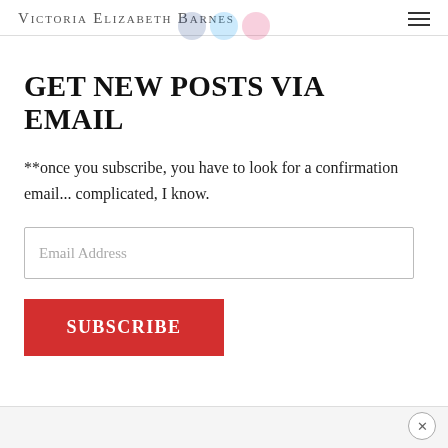Victoria Elizabeth Barnes
GET NEW POSTS VIA EMAIL
**once you subscribe, you have to look for a confirmation email... complicated, I know.
Email Address
SUBSCRIBE